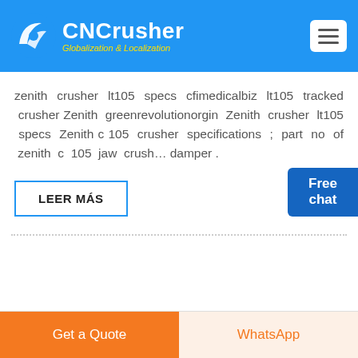[Figure (logo): CNCrusher logo with blue background, white swoosh icon, white bold text 'CNCrusher', yellow italic subtitle 'Globalization & Localization', and hamburger menu button on the right]
zenith crusher lt105 specs cfimedicalbiz lt105 tracked crusher Zenith greenrevolutionorgin Zenith crusher lt105 specs Zenith c 105 crusher specifications ; part no of zenith c 105 jaw crusher damper .
LEER MÁS
Get a Quote   WhatsApp